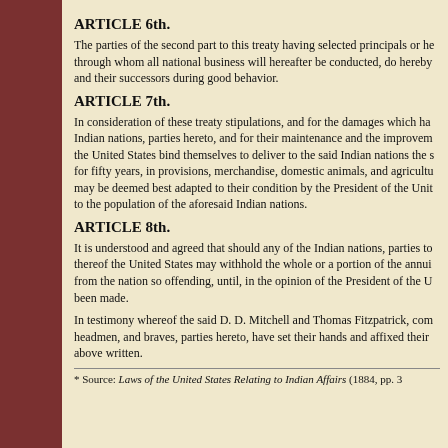ARTICLE 6th.
The parties of the second part to this treaty having selected principals or he- through whom all national business will hereafter be conducted, do hereby and their successors during good behavior.
ARTICLE 7th.
In consideration of these treaty stipulations, and for the damages which ha- Indian nations, parties hereto, and for their maintenance and the improvem- the United States bind themselves to deliver to the said Indian nations the s- for fifty years, in provisions, merchandise, domestic animals, and agricultu- may be deemed best adapted to their condition by the President of the Unit- to the population of the aforesaid Indian nations.
ARTICLE 8th.
It is understood and agreed that should any of the Indian nations, parties to thereof the United States may withhold the whole or a portion of the annui- from the nation so offending, until, in the opinion of the President of the U- been made.
In testimony whereof the said D. D. Mitchell and Thomas Fitzpatrick, com- headmen, and braves, parties hereto, have set their hands and affixed their above written.
* Source: Laws of the United States Relating to Indian Affairs (1884, pp. 3